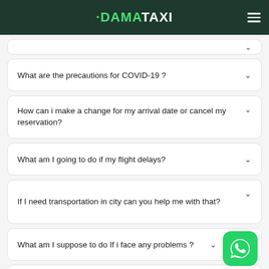DAMATAXI
What are the precautions for COVID-19 ?
How can i make a change for my arrival date or cancel my reservation?
What am I going to do if my flight delays?
If I need transportation in city can you help me with that?
What am I suppose to do If i face any problems ?